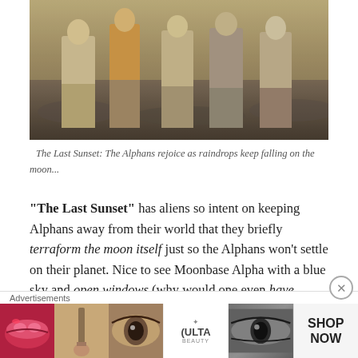[Figure (photo): Scene from The Last Sunset showing several Alphans rejoicing outdoors on a moon landscape with atmospheric lighting]
The Last Sunset: The Alphans rejoice as raindrops keep falling on the moon...
“The Last Sunset” has aliens so intent on keeping Alphans away from their world that they briefly terraform the moon itself just so the Alphans won’t settle on their planet. Nice to see Moonbase Alpha with a blue sky and open windows (why would one even have openable windows on a lunar base?). Not to mention rain and outdoor volleyball matches. Problems arise when the terraforming effects don’t hold, and Paulless...
[Figure (advertisement): ULTA Beauty advertisement showing close-up images of lips, makeup brush, eyes, ULTA logo, and SHOP NOW call to action]